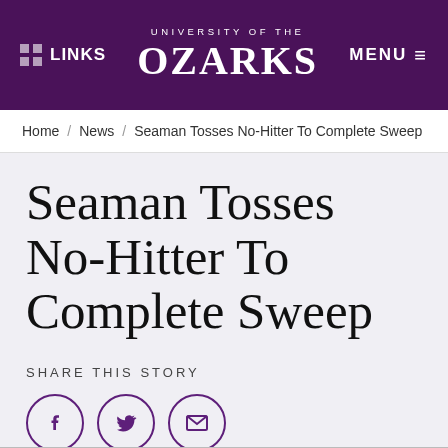LINKS | UNIVERSITY OF THE OZARKS | MENU
Home / News / Seaman Tosses No-Hitter To Complete Sweep
Seaman Tosses No-Hitter To Complete Sweep
SHARE THIS STORY
[Figure (infographic): Three circular social share icons: Facebook (f), Twitter (bird), Email (envelope)]